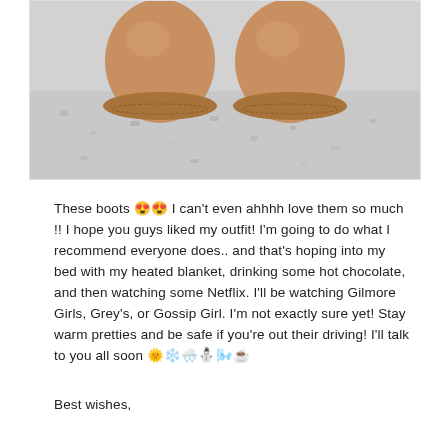[Figure (photo): Top-down photo of two tan/brown suede boots standing on a snowy/grey speckled surface]
These boots 😍😍 I can't even ahhhh love them so much !! I hope you guys liked my outfit! I'm going to do what I recommend everyone does.. and that's hoping into my bed with my heated blanket, drinking some hot chocolate, and then watching some Netflix. I'll be watching Gilmore Girls, Grey's, or Gossip Girl. I'm not exactly sure yet! Stay warm pretties and be safe if you're out their driving! I'll talk to you all soon 🌞❄️🌨️⛄🌬️☕
Best wishes,